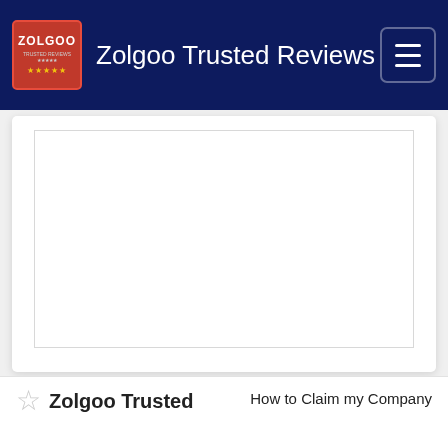Zolgoo Trusted Reviews
[Figure (screenshot): White content card area with inner bordered rectangle, embedded on a white card with shadow, on a light gray page background.]
Zolgoo Trusted
How to Claim my Company